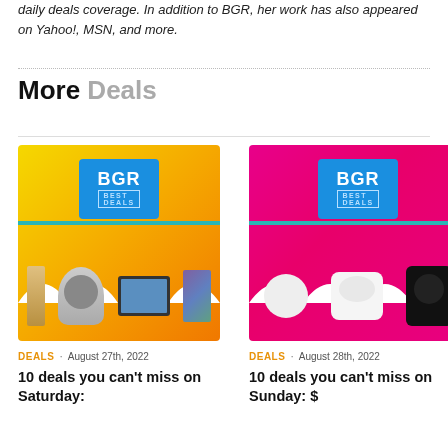daily deals coverage. In addition to BGR, her work has also appeared on Yahoo!, MSN, and more.
More Deals
[Figure (photo): BGR Best Deals promotional image with yellow/orange gradient background showing kitchen appliances and laptop. DEALS · August 27th, 2022]
10 deals you can't miss on Saturday:
[Figure (photo): BGR Best Deals promotional image with pink/magenta gradient background showing AirPods and air fryer. DEALS · August 28th, 2022]
10 deals you can't miss on Sunday: $